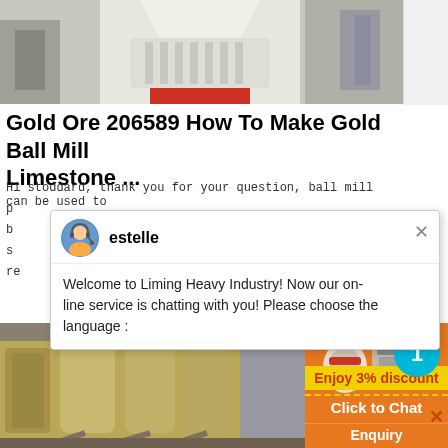[Figure (photo): Large white industrial ball mill machine inside a factory warehouse, viewed from front-low angle]
Gold Ore 206589 How To Make Gold Ball Mill Limestone ...
Hi stoddard, thank you for your question, ball mill can be used to p... b... s... re...
[Figure (screenshot): Chat popup from Liming Heavy Industry with avatar of agent named 'estelle'. Message reads: Welcome to Liming Heavy Industry! Now our on-line service is chatting with you! Please choose the language :]
[Figure (photo): Industrial grinding mill equipment inside a factory, showing yellow/tan cylindrical silos and conveyor structures]
[Figure (infographic): Orange promotional panel with photo of grinding machine, blue circle badge with number 1, yellow bar saying Enjoy 3% discount, orange bar saying Click to Chat, and Enquiry section]